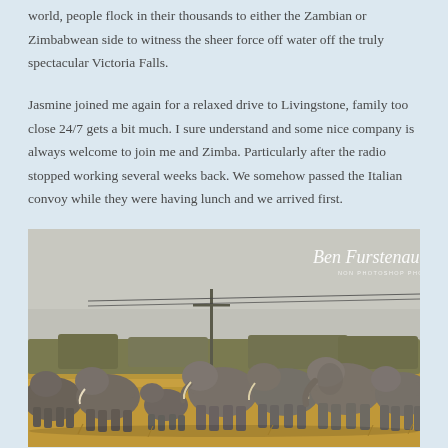world, people flock in their thousands to either the Zambian or Zimbabwean side to witness the sheer force off water off the truly spectacular Victoria Falls.
Jasmine joined me again for a relaxed drive to Livingstone, family too close 24/7 gets a bit much. I sure understand and some nice company is always welcome to join me and Zimba. Particularly after the radio stopped working several weeks back. We somehow passed the Italian convoy while they were having lunch and we arrived first.
[Figure (photo): A herd of elephants walking through dry savanna grassland with sparse trees and a utility/telephone pole in the background under a hazy grey sky. Watermark reads 'Ben Furstenau - Non Photoshop Photography' in the upper right.]